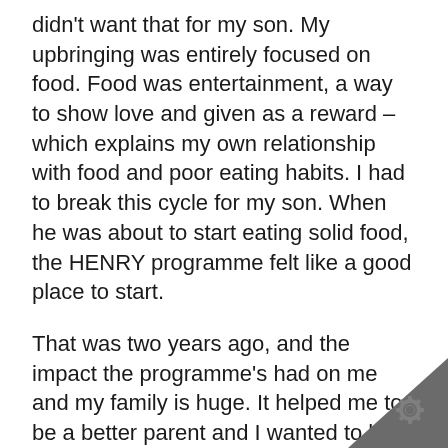didn't want that for my son. My upbringing was entirely focused on food. Food was entertainment, a way to show love and given as a reward – which explains my own relationship with food and poor eating habits. I had to break this cycle for my son. When he was about to start eating solid food, the HENRY programme felt like a good place to start.
That was two years ago, and the impact the programme's had on me and my family is huge. It helped me to be a better parent and I wanted to help other parents give their children the best start. In Bradford, you see a lot of parents and children struggling. I was determined to support other families, so I decided to become a HENRY volunteer.
The volunteer training really boosted my confidence and I felt ready to support
[Figure (illustration): Dark grey triangle in the bottom-right corner with a gear/cog icon watermark]